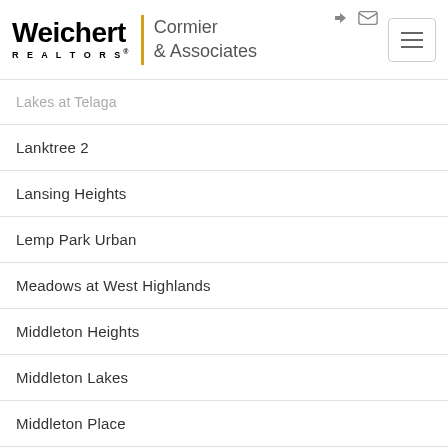Weichert REALTORS Cormier & Associates
Lakes at Telaga
Lanktree 2
Lansing Heights
Lemp Park Urban
Meadows at West Highlands
Middleton Heights
Middleton Lakes
Middleton Place